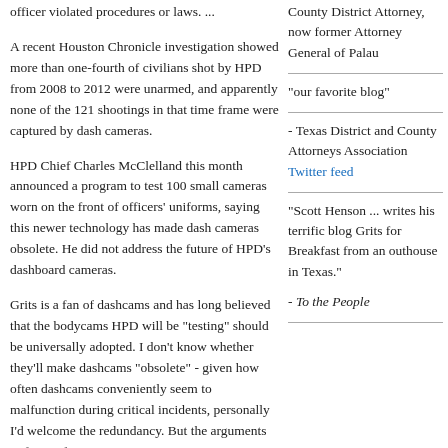officer violated procedures or laws. ...
A recent Houston Chronicle investigation showed more than one-fourth of civilians shot by HPD from 2008 to 2012 were unarmed, and apparently none of the 121 shootings in that time frame were captured by dash cameras.
HPD Chief Charles McClelland this month announced a program to test 100 small cameras worn on the front of officers' uniforms, saying this newer technology has made dash cameras obsolete. He did not address the future of HPD's dashboard cameras.
Grits is a fan of dashcams and has long believed that the bodycams HPD will be "testing" should be universally adopted. I don't know whether they'll make dashcams "obsolete" - given how often dashcams conveniently seem to malfunction during critical incidents, personally I'd welcome the redundancy. But the arguments in favor of
County District Attorney, now former Attorney General of Palau
"our favorite blog"
- Texas District and County Attorneys Association Twitter feed
"Scott Henson ... writes his terrific blog Grits for Breakfast from an outhouse in Texas."
- To the People